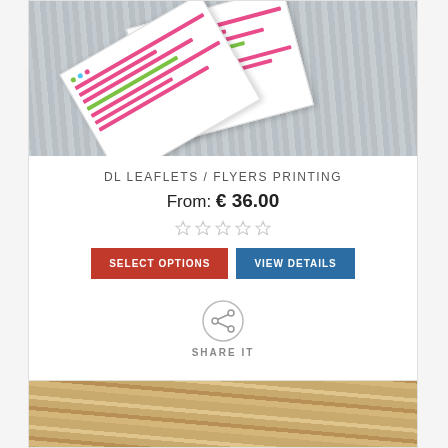[Figure (photo): Product photo of DL leaflets/flyers on a grey wooden surface background, showing two white printed cards at an angle]
DL LEAFLETS / FLYERS PRINTING
From: € 36.00
[Figure (other): Five star rating icons in grey/outline style]
SELECT OPTIONS
VIEW DETAILS
[Figure (other): Share icon - circle with share/connect symbol]
SHARE IT
[Figure (photo): Partial product photo showing brown wood grain surface at the bottom of the page]